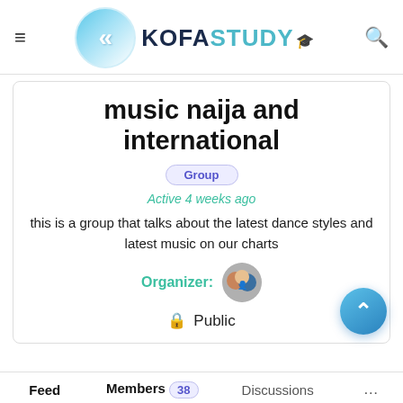KofaStudy
music naija and international
Group
Active 4 weeks ago
this is a group that talks about the latest dance styles and latest music on our charts
Organizer:
Public
Feed  Members 38  Discussions  ...